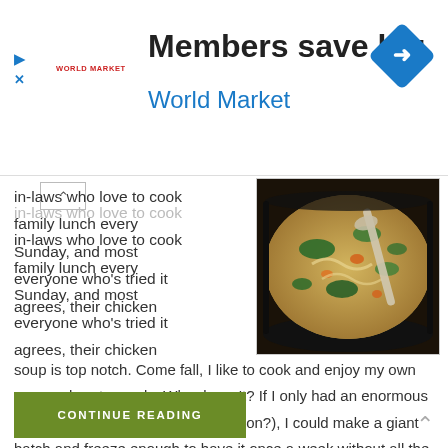[Figure (infographic): Advertisement banner for World Market: 'Members save big / World Market' with logo, navigation arrow icons on left, and blue diamond turn-right icon on right.]
in-laws who love to cook family lunch every Sunday, and most everyone who's tried it agrees, their chicken soup is top notch. Come fall, I like to cook and enjoy my own soup-er hearty meals. Who doesn't? If I only had an enormous pot (what's a witch without a cauldron?), I could make a giant batch and freeze enough to have it once a week without all the choppy-choppy. But the ...
[Figure (photo): Overhead photo of a large pot of chicken soup with vegetables (spinach, carrots, noodles) on a stove burner, with a spoon resting in the pot.]
CONTINUE READING